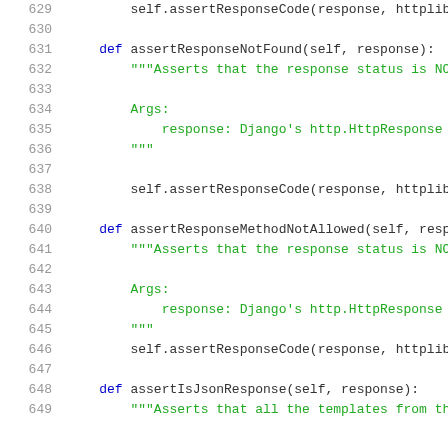[Figure (screenshot): Python source code snippet showing lines 629-649, with line numbers in gray and code text in dark/green colors. Methods shown: assertResponseNotFound, assertResponseMethodNotAllowed, assertIsJsonResponse.]